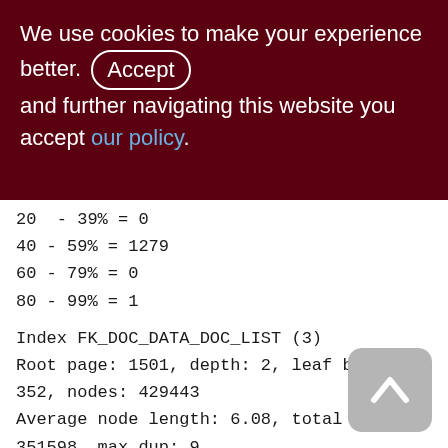We use cookies to make your experience better. By accepting and further navigating this website you accept our policy.
20 - 39% = 0
40 - 59% = 1279
60 - 79% = 0
80 - 99% = 1
Index FK_DOC_DATA_DOC_LIST (3)
Root page: 1501, depth: 2, leaf buckets: 352, nodes: 429443
Average node length: 6.08, total dup: 351598, max dup: 9
Average key length: 3.32, compression ratio: 2.71
Average prefix length: 7.86, average data